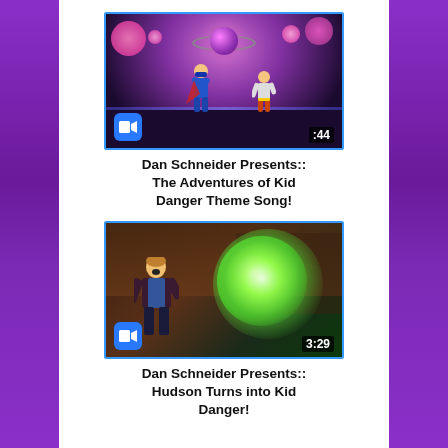[Figure (screenshot): Video thumbnail for animated show 'The Adventures of Kid Danger' showing two superhero characters dancing under a disco ball with pink splatter effects, duration :44, with Zoom video icon]
Dan Schneider Presents:: The Adventures of Kid Danger Theme Song!
[Figure (screenshot): Video thumbnail for live-action show showing a teenager reacting with surprise to a bright green flash/explosion effect, duration 3:29, with Zoom video icon]
Dan Schneider Presents:: Hudson Turns into Kid Danger!